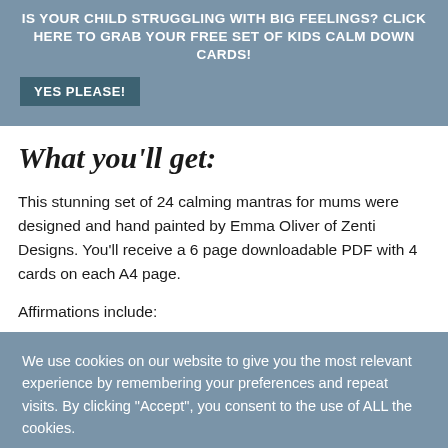IS YOUR CHILD STRUGGLING WITH BIG FEELINGS? CLICK HERE TO GRAB YOUR FREE SET OF KIDS CALM DOWN CARDS!
YES PLEASE!
What you'll get:
This stunning set of 24 calming mantras for mums were designed and hand painted by Emma Oliver of Zenti Designs. You'll receive a 6 page downloadable PDF with 4 cards on each A4 page.
Affirmations include:
We use cookies on our website to give you the most relevant experience by remembering your preferences and repeat visits. By clicking "Accept", you consent to the use of ALL the cookies.
Do not sell my information
Cookie Settings
Accept